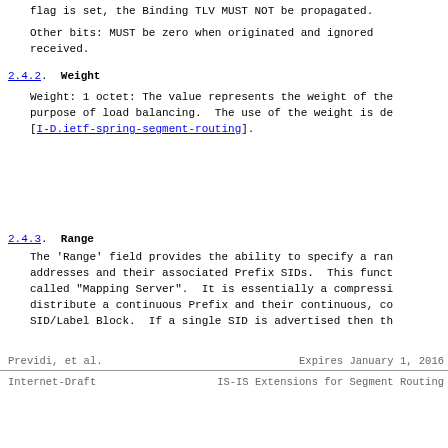flag is set, the Binding TLV MUST NOT be propagated.
Other bits: MUST be zero when originated and ignored when received.
2.4.2.  Weight
Weight: 1 octet: The value represents the weight of the purpose of load balancing.  The use of the weight is de [I-D.ietf-spring-segment-routing].
Previdi, et al.          Expires January 1, 2016
Internet-Draft    IS-IS Extensions for Segment Routing
2.4.3.  Range
The 'Range' field provides the ability to specify a ran addresses and their associated Prefix SIDs.  This funct called "Mapping Server".  It is essentially a compressi distribute a continuous Prefix and their continuous, co SID/Label Block.  If a single SID is advertised then th